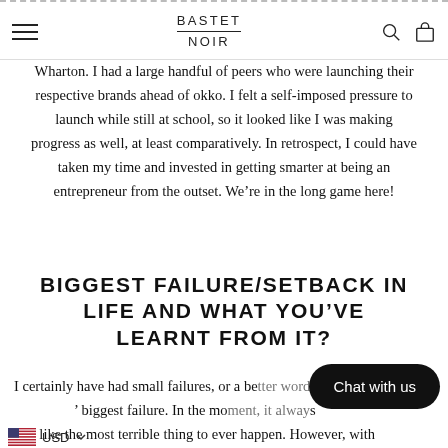BASTET NOIR
Wharton. I had a large handful of peers who were launching their respective brands ahead of okko. I felt a self-imposed pressure to launch while still at school, so it looked like I was making progress as well, at least comparatively. In retrospect, I could have taken my time and invested in getting smarter at being an entrepreneur from the outset. We’re in the long game here!
BIGGEST FAILURE/SETBACK IN LIFE AND WHAT YOU’VE LEARNT FROM IT?
I certainly have had small failures, or a be... 'es,' biggest failure. In the mo... es feel like the most terrible thing to ever happen. However, with age and more experience, I learned to be better about finding